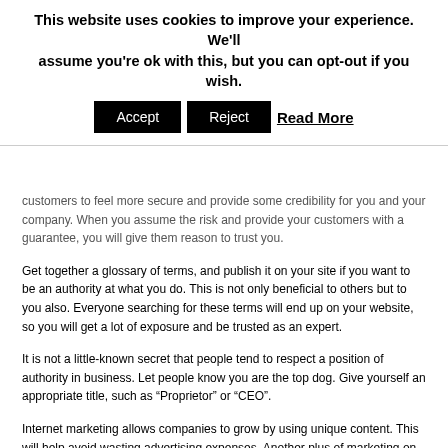This website uses cookies to improve your experience. We'll assume you're ok with this, but you can opt-out if you wish.
Accept | Reject | Read More
customers to feel more secure and provide some credibility for you and your company. When you assume the risk and provide your customers with a guarantee, you will give them reason to trust you.
Get together a glossary of terms, and publish it on your site if you want to be an authority at what you do. This is not only beneficial to others but to you also. Everyone searching for these terms will end up on your website, so you will get a lot of exposure and be trusted as an expert.
It is not a little-known secret that people tend to respect a position of authority in business. Let people know you are the top dog. Give yourself an appropriate title, such as “Proprietor” or “CEO”.
Internet marketing allows companies to grow by using unique content. This will help avoid wasting advertising expenses. Another plus of marketing on the Internet is that advertising effectiveness can be accurately measured. The Internet is a great place to get the most bang for your buck when it comes to investing in advertising.